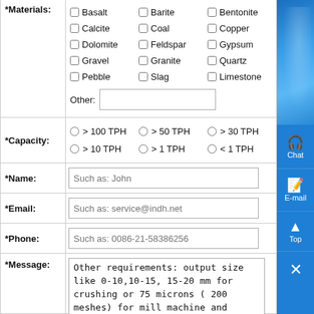| Field | Value |
| --- | --- |
| *Materials: | Checkboxes: Basalt, Barite, Bentonite, Calcite, Coal, Copper, Dolomite, Feldspar, Gypsum, Gravel, Granite, Quartz, Pebble, Slag, Limestone; Other: [text input] |
| *Capacity: | Radio: > 100 TPH, > 50 TPH, > 30 TPH, > 10 TPH, > 1 TPH, < 1 TPH |
| *Name: | Such as: John |
| *Email: | Such as: service@indh.net |
| *Phone: | Such as: 0086-21-58386256 |
| *Message: | Other requirements: output size like 0-10,10-15, 15-20 mm for crushing or 75 microns ( 200 meshes) for mill machine and other requirements. |